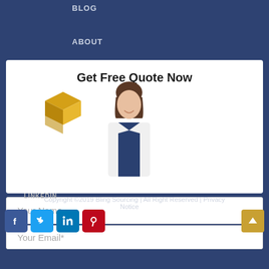BLOG
ABOUT
Get Free Quote Now
[Figure (illustration): 3D geometric logo (golden/orange cube shape) and a woman in white blazer smiling]
YOUTUBE
Your Name
LINKEDIN
Your Email*
Copyright ©2019 Bling Sourcing | All Right Reserved | Privacy Notice
[Figure (logo): Social media icons: Facebook (blue), Twitter (light blue), LinkedIn (blue), Pinterest (red). Scroll-to-top button (gold/yellow).]